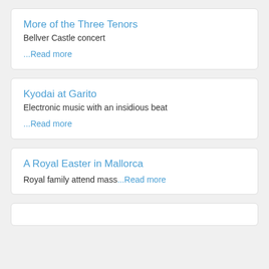More of the Three Tenors
Bellver Castle concert
...Read more
Kyodai at Garito
Electronic music with an insidious beat
...Read more
A Royal Easter in Mallorca
Royal family attend mass...Read more